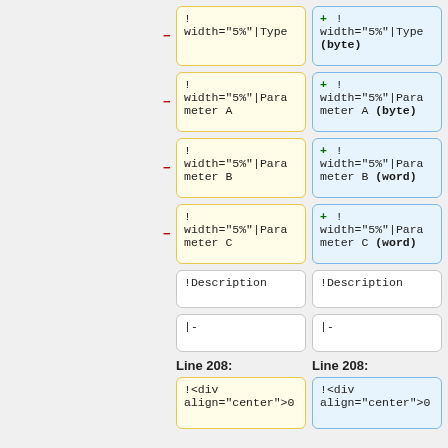! width="5%"|Type (removed) vs ! width="5%"|Type (byte) (added)
! width="5%"|Parameter A (removed) vs ! width="5%"|Parameter A (byte) (added)
! width="5%"|Parameter B (removed) vs ! width="5%"|Parameter B (word) (added)
! width="5%"|Parameter C (removed) vs ! width="5%"|Parameter C (word) (added)
!Description vs !Description
|- vs |-
Line 208: vs Line 208:
!<div align="center">0 vs !<div align="center">0